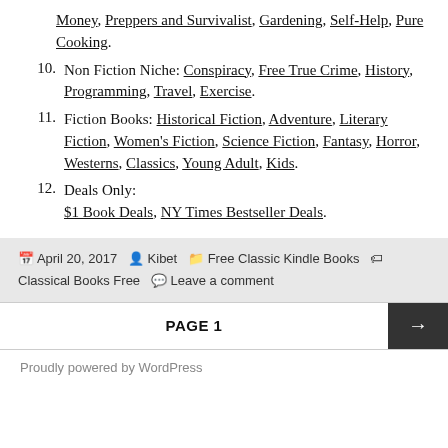Money, Preppers and Survivalist, Gardening, Self-Help, Pure Cooking.
10. Non Fiction Niche: Conspiracy, Free True Crime, History, Programming, Travel, Exercise.
11. Fiction Books: Historical Fiction, Adventure, Literary Fiction, Women's Fiction, Science Fiction, Fantasy, Horror, Westerns, Classics, Young Adult, Kids.
12. Deals Only: $1 Book Deals, NY Times Bestseller Deals.
April 20, 2017   Kibet   Free Classic Kindle Books   Classical Books Free   Leave a comment
PAGE 1
Proudly powered by WordPress